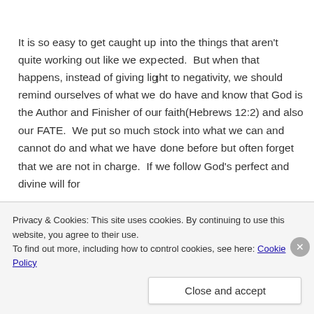It is so easy to get caught up into the things that aren't quite working out like we expected.  But when that happens, instead of giving light to negativity, we should remind ourselves of what we do have and know that God is the Author and Finisher of our faith(Hebrews 12:2) and also our FATE.  We put so much stock into what we can and cannot do and what we have done before but often forget that we are not in charge.  If we follow God's perfect and divine will for
Privacy & Cookies: This site uses cookies. By continuing to use this website, you agree to their use.
To find out more, including how to control cookies, see here: Cookie Policy
Close and accept